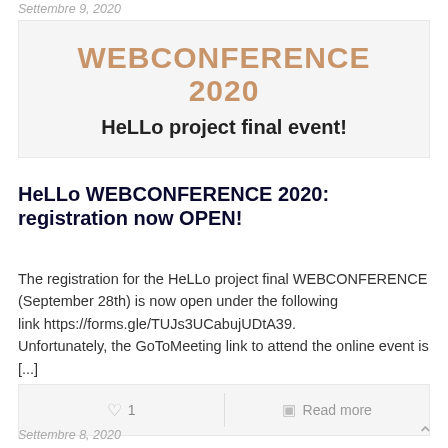Settembre 9, 2020
[Figure (illustration): Banner image with text: WEBCONFERENCE 2020 in large tan/copper bold font, and subtitle HeLLo project final event! in large black bold font, on a light gray background.]
HeLLo WEBCONFERENCE 2020: registration now OPEN!
The registration for the HeLLo project final WEBCONFERENCE (September 28th) is now open under the following link https://forms.gle/TUJs3UCabujUDtA39. Unfortunately, the GoToMeeting link to attend the online event is [...]
♡ 1    Read more
Settembre 8, 2020